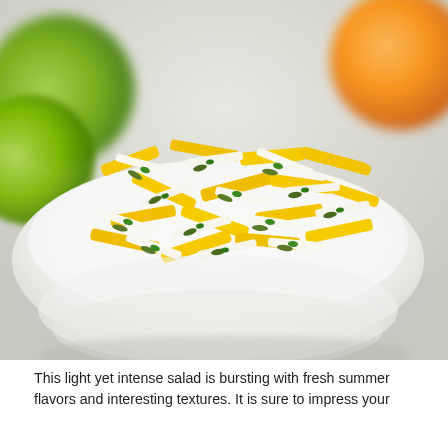[Figure (photo): A white bowl filled with a colorful salad of yellow mango strips, white jicama sticks, green herbs (cilantro), and pumpkin seeds. Green limes and an orange are visible blurred in the background. The setting is bright and clean.]
This light yet intense salad is bursting with fresh summer flavors and interesting textures. It is sure to impress your